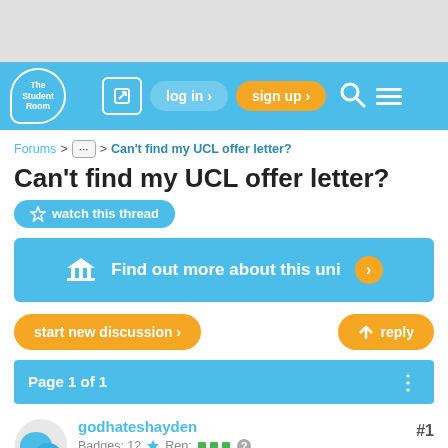[Figure (screenshot): The Student Room website navigation bar with logo, login, sign up, search and menu icons]
Forums > ... > Can't find my UCL offer letter?
Can't find my UCL offer letter?
watch this thread
Find out more about this uni
start new discussion >
reply
Page 1 of 1
godhateshayden
Badges: 12  Rep:  #1